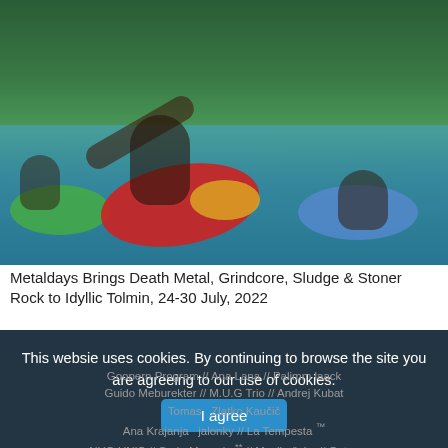[Figure (photo): People floating on colorful inflatable rafts and floaties on a turquoise green river surrounded by lush trees. Multiple people visible on red, green, blue, and yellow inflatables.]
Metaldays Brings Death Metal, Grindcore, Sludge & Stoner Rock to Idyllic Tolmin, 24-30 July, 2022
This websie uses cookies. By continuing to browse the site you are agreeing to our use of cookies.
Goopern Program // Ana Lana // Palimm laack Guido Meburekter // M.U.G Trio // Andrej Kubat Tomas Zlatko Kaučič Ana Krajanja jalonky // La Tempesta NUG UNIS // Carlo Mascolo *** // Muzikačaka // Octex